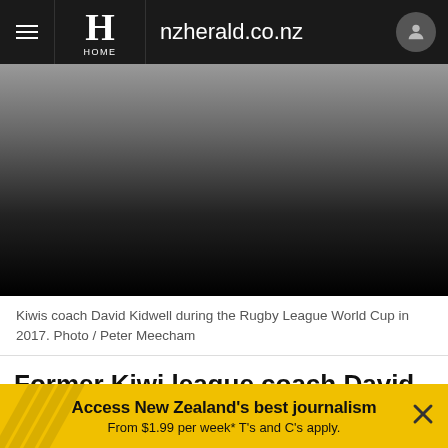nzherald.co.nz
[Figure (photo): Dark gradient hero image area, transitioning from grey at top to black at bottom.]
Kiwis coach David Kidwell during the Rugby League World Cup in 2017. Photo / Peter Meecham
Former Kiwi league coach David Kidwell will help Argentina prepare for next year's Rugby World Cup
Access New Zealand's best journalism From $1.99 per week* T's and C's apply.